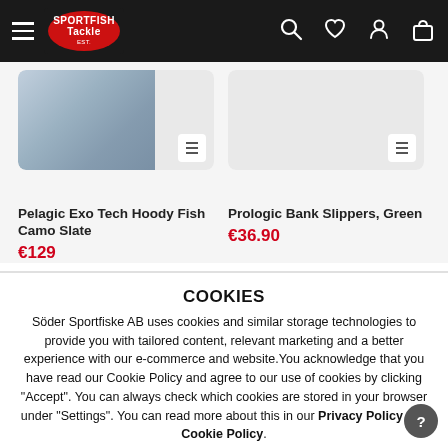Sportfish Tackle - navigation bar with hamburger menu, logo, search, wishlist, account, and cart icons
[Figure (screenshot): Pelagic Exo Tech Hoody Fish Camo Slate product image (camo blue/grey pattern)]
Pelagic Exo Tech Hoody Fish Camo Slate
€129
[Figure (screenshot): Prologic Bank Slippers, Green product image]
Prologic Bank Slippers, Green
€36.90
COOKIES
Söder Sportfiske AB uses cookies and similar storage technologies to provide you with tailored content, relevant marketing and a better experience with our e-commerce and website.You acknowledge that you have read our Cookie Policy and agree to our use of cookies by clicking "Accept". You can always check which cookies are stored in your browser under "Settings". You can read more about this in our Privacy Policy and Cookie Policy.
SETTINGS
ACCEPT